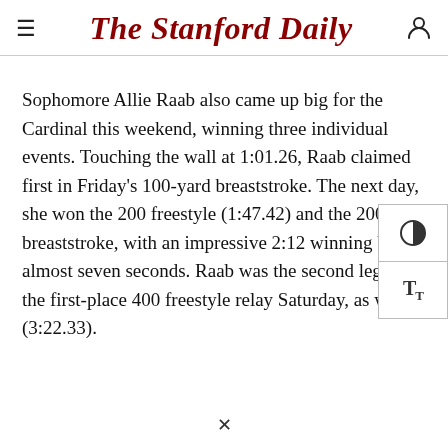The Stanford Daily
Sophomore Allie Raab also came up big for the Cardinal this weekend, winning three individual events. Touching the wall at 1:01.26, Raab claimed first in Friday's 100-yard breaststroke. The next day, she won the 200 freestyle (1:47.42) and the 200-yard breaststroke, with an impressive 2:12 winning by almost seven seconds. Raab was the second leg in the first-place 400 freestyle relay Saturday, as well (3:22.33).